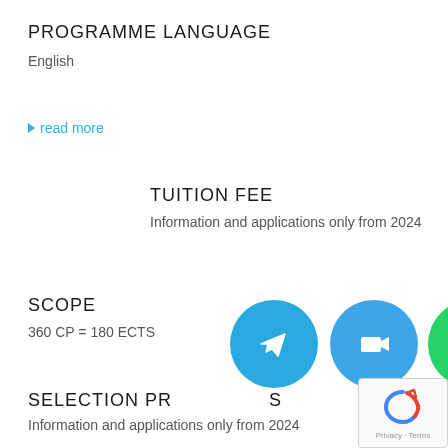PROGRAMME LANGUAGE
English
▶ read more
TUITION FEE
Information and applications only from 2024
SCOPE
360 CP = 180 ECTS
SELECTION PROCEDURES
Information and applications only from 2024